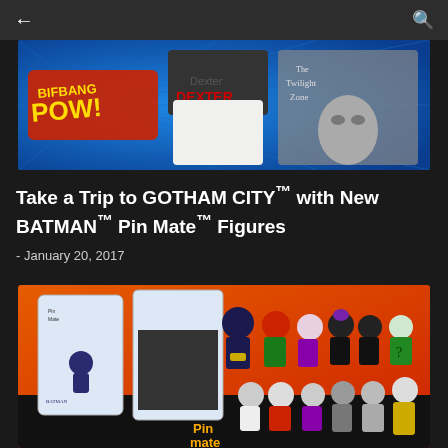[Figure (photo): Bif Bang Pow! branded banner image showing pop culture characters including Dexter, South Park characters, and a Twilight Zone figure on a blue starburst background]
Take a Trip to GOTHAM CITY™ with New BATMAN™ Pin Mate™ Figures
- January 20, 2017
[Figure (photo): Product photo of Batman Pin Mate figures including packaged Batman figure, collector set packaging, and multiple character figures (Batman, Robin, Joker, Penguin, Catwoman, Riddler and others) displayed on an orange background with city silhouette, with the Pin Mate logo visible]